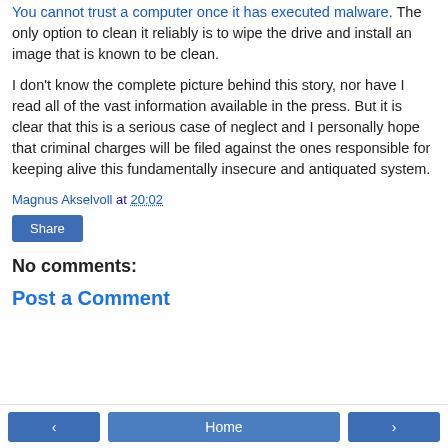You cannot trust a computer once it has executed malware. The only option to clean it reliably is to wipe the drive and install an image that is known to be clean.
I don't know the complete picture behind this story, nor have I read all of the vast information available in the press. But it is clear that this is a serious case of neglect and I personally hope that criminal charges will be filed against the ones responsible for keeping alive this fundamentally insecure and antiquated system.
Magnus Akselvoll at 20:02
Share
No comments:
Post a Comment
‹  Home  ›